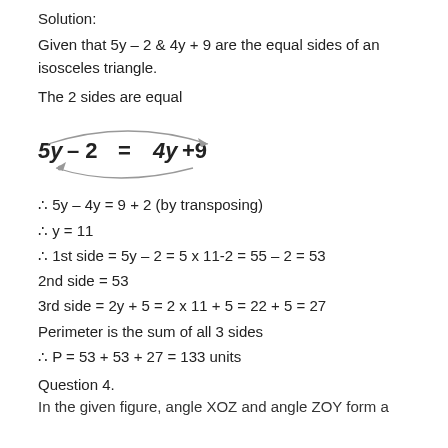Solution:
Given that 5y – 2 & 4y + 9 are the equal sides of an isosceles triangle.
The 2 sides are equal
[Figure (math-figure): Equation 5y – 2 = 4y + 9 with curved arrows connecting the two sides, indicating equality by transposition]
∴ 5y – 4y = 9 + 2 (by transposing)
∴ y = 11
∴ 1st side = 5y – 2 = 5 x 11-2 = 55 – 2 = 53
2nd side = 53
3rd side = 2y + 5 = 2 x 11 + 5 = 22 + 5 = 27
Perimeter is the sum of all 3 sides
∴ P = 53 + 53 + 27 = 133 units
Question 4.
In the given figure, angle XOZ and angle ZOY form a